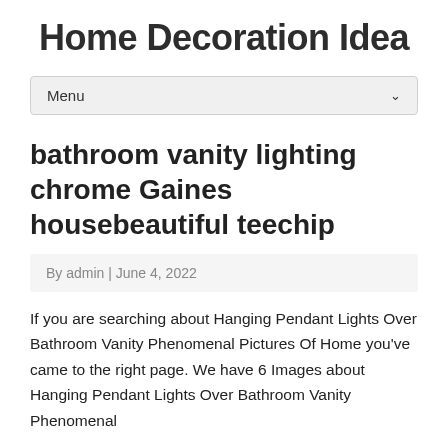Home Decoration Idea
Menu
bathroom vanity lighting chrome Gaines housebeautiful teechip
By admin | June 4, 2022
If you are searching about Hanging Pendant Lights Over Bathroom Vanity Phenomenal Pictures Of Home you've came to the right page. We have 6 Images about Hanging Pendant Lights Over Bathroom Vanity Phenomenal